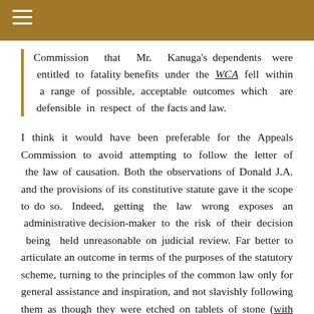≡
Commission that Mr. Kanuga's dependents were entitled to fatality benefits under the WCA fell within a range of possible, acceptable outcomes which are defensible in respect of the facts and law.
I think it would have been preferable for the Appeals Commission to avoid attempting to follow the letter of the law of causation. Both the observations of Donald J.A. and the provisions of its constitutive statute gave it the scope to do so. Indeed, getting the law wrong exposes an administrative decision-maker to the risk of their decision being held unreasonable on judicial review. Far better to articulate an outcome in terms of the purposes of the statutory scheme, turning to the principles of the common law only for general assistance and inspiration, and not slavishly following them as though they were etched on tablets of stone (with apologies to David Cheifetz).
UPDATE: A twitter interaction with Benjamin Oliphant